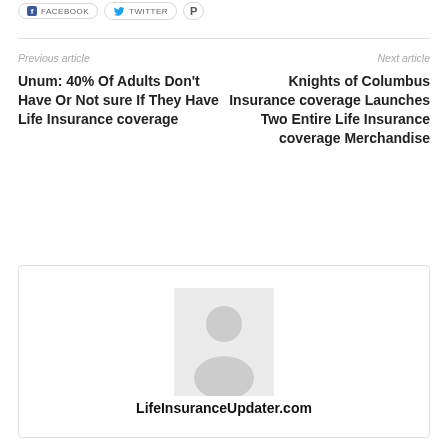Previous article
Next article
Unum: 40% Of Adults Don't Have Or Not sure If They Have Life Insurance coverage
Knights of Columbus Insurance coverage Launches Two Entire Life Insurance coverage Merchandise
[Figure (illustration): Author avatar placeholder — a grey silhouette of a person on a light grey background]
LifeInsuranceUpdater.com